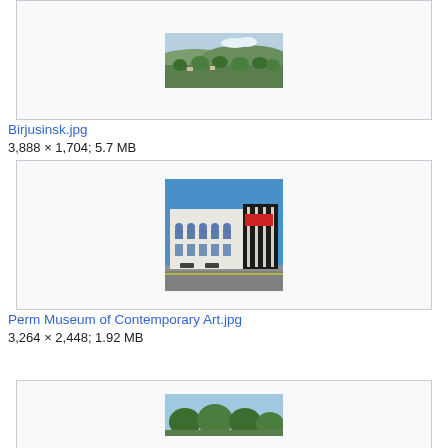[Figure (photo): Aerial/landscape panoramic view of a rural settlement with green fields and trees]
Birjusinsk.jpg
3,888 × 1,704; 5.7 MB
[Figure (photo): Perm Museum of Contemporary Art building - white building with arched windows and dark modern extension]
Perm Museum of Contemporary Art.jpg
3,264 × 2,448; 1.92 MB
[Figure (photo): Partial view of another photo at bottom of page]